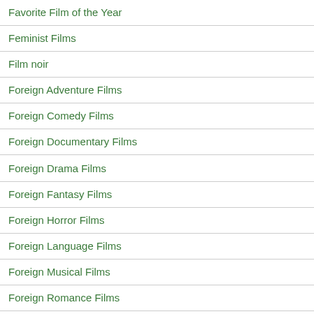Favorite Film of the Year
Feminist Films
Film noir
Foreign Adventure Films
Foreign Comedy Films
Foreign Documentary Films
Foreign Drama Films
Foreign Fantasy Films
Foreign Horror Films
Foreign Language Films
Foreign Musical Films
Foreign Romance Films
Foreign Romantic Comedy Films